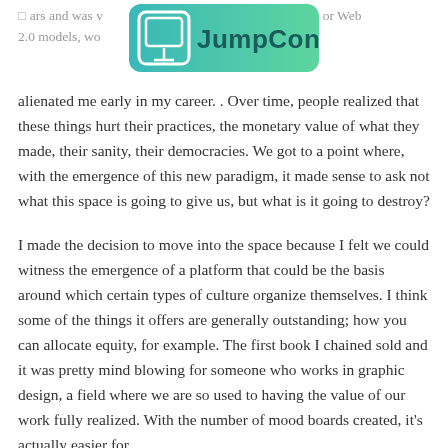ars and was w... media, or Web 2.0 models, wo... that really
[Figure (logo): JumpCon logo — teal/green rounded rectangle with a monitor icon on the left and 'JumpCon' text on the right in dark teal]
alienated me early in my career. . Over time, people realized that these things hurt their practices, the monetary value of what they made, their sanity, their democracies. We got to a point where, with the emergence of this new paradigm, it made sense to ask not what this space is going to give us, but what is it going to destroy?
I made the decision to move into the space because I felt we could witness the emergence of a platform that could be the basis around which certain types of culture organize themselves. I think some of the things it offers are generally outstanding; how you can allocate equity, for example. The first book I chained sold and it was pretty mind blowing for someone who works in graphic design, a field where we are so used to having the value of our work fully realized. With the number of mood boards created, it's actually easier for